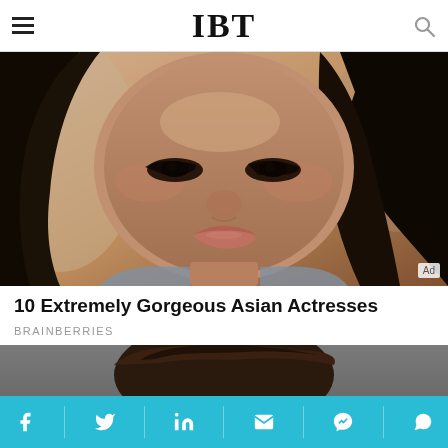IBT
[Figure (photo): Close-up portrait of a woman with dark hair and dramatic eye makeup, looking at camera]
10 Extremely Gorgeous Asian Actresses
BRAINBERRIES
[Figure (photo): Partial portrait of a person with dark wavy hair against a gray background]
Social share bar with Facebook, Twitter, LinkedIn, Email, Messenger, WhatsApp icons